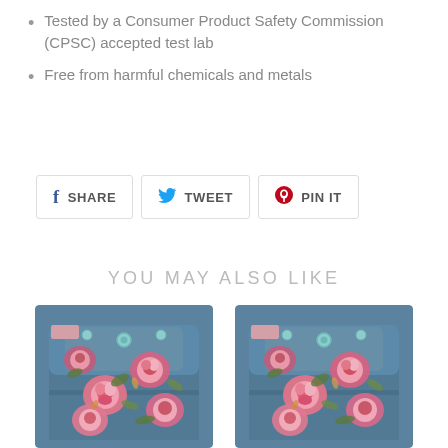Tested by a Consumer Product Safety Commission (CPSC) accepted test lab
Free from harmful chemicals and metals
SHARE  TWEET  PIN IT
YOU MAY ALSO LIKE
[Figure (photo): Two floral-patterned cloth diapers side by side on white background. Blue fabric with pink roses pattern.]